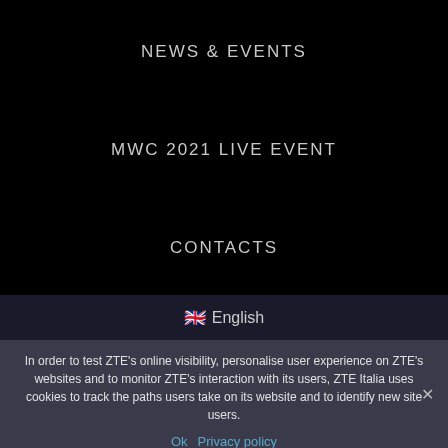NEWS & EVENTS
MWC 2021 LIVE EVENT
CONTACTS
🇬🇧 English
In order to test ZTE's online visibility, personalise user experience on ZTE's websites and to monitor ZTE's interaction with its users, ZTE Italia uses cookies to track the paths users take on its website and to identify new site users.
Ok   Privacy policy